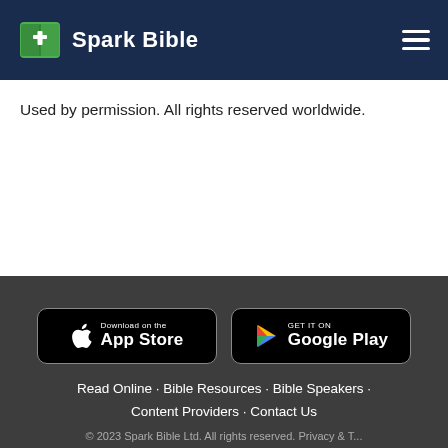Spark Bible
Used by permission. All rights reserved worldwide.
[Figure (logo): Download on the App Store badge (black, rounded rectangle)]
[Figure (logo): GET IT ON Google Play badge (black, rounded rectangle)]
Read Online · Bible Resources · Bible Speakers · Content Providers · Contact Us
© 2023 Spark Bible Ltd. All rights reserved. Privacy & T...